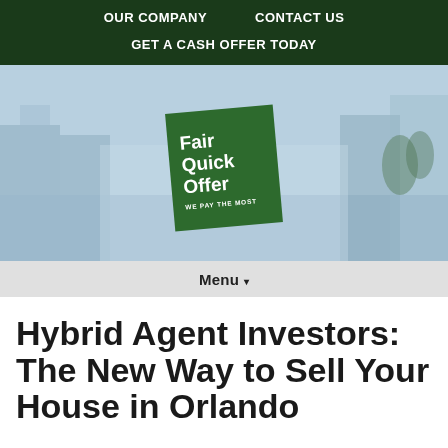OUR COMPANY   CONTACT US
GET A CASH OFFER TODAY
[Figure (logo): Fair Quick Offer logo - green rotated square with white bold text reading Fair Quick Offer and tagline WE PAY THE MOST, overlaid on a waterfront city background]
Menu ▾
Hybrid Agent Investors: The New Way to Sell Your House in Orlando